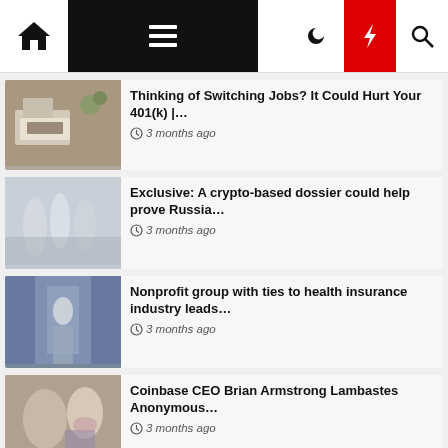Navigation bar with home, menu, moon, bolt, search icons
[Figure (screenshot): Thumbnail of a person working at a laptop on a desk]
Thinking of Switching Jobs? It Could Hurt Your 401(k) |…
3 months ago
[Figure (screenshot): Thumbnail of a room with reflective decorations hanging]
Exclusive: A crypto-based dossier could help prove Russia…
3 months ago
[Figure (screenshot): Thumbnail of a person walking through glass doors in a corridor]
Nonprofit group with ties to health insurance industry leads…
3 months ago
[Figure (screenshot): Thumbnail of two people at a table with laptops]
Coinbase CEO Brian Armstrong Lambastes Anonymous…
3 months ago
[Figure (screenshot): Thumbnail of a person, partial view]
U.S. judge dismisses Cristiano